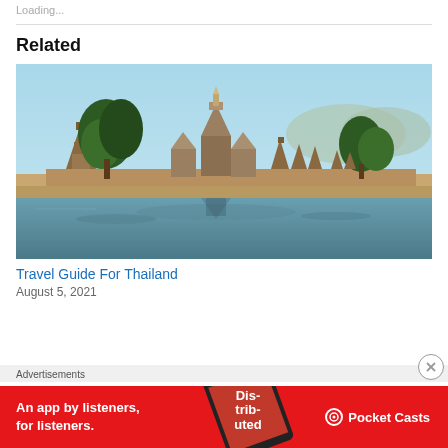Loading...
Related
[Figure (photo): Sukhothai Historical Park temples reflected in a lake, with trees and blue sky in background.]
Travel Guide For Thailand
August 5, 2021
Advertisements
[Figure (screenshot): Pocket Casts advertisement banner: red background with text 'An app by listeners, for listeners.' and Pocket Casts logo with a phone graphic showing 'Distributed'.]